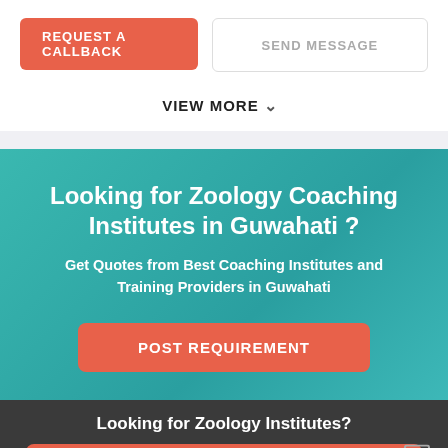REQUEST A CALLBACK
SEND MESSAGE
VIEW MORE
Looking for Zoology Coaching Institutes in Guwahati ?
Get Quotes from Best Coaching Institutes and Training Providers in Guwahati
POST REQUIREMENT
Looking for Zoology Institutes?
Post Your Learning Requirement - It's FREE